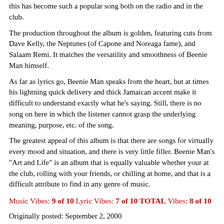this has become such a popular song both on the radio and in the club.
The production throughout the album is golden, featuring cuts from Dave Kelly, the Neptunes (of Capone and Noreaga fame), and Salaam Remi. It matches the versatility and smoothness of Beenie Man himself.
As far as lyrics go, Beenie Man speaks from the heart, but at times his lightning quick delivery and thick Jamaican accent make it difficult to understand exactly what he's saying. Still, there is no song on here in which the listener cannot grasp the underlying meaning, purpose, etc. of the song.
The greatest appeal of this album is that there are songs for virtually every mood and situation, and there is very little filler. Beenie Man's "Art and Life" is an album that is equally valuable whether your at the club, rolling with your friends, or chilling at home, and that is a difficult attribute to find in any genre of music.
Music Vibes: 9 of 10 Lyric Vibes: 7 of 10 TOTAL Vibes: 8 of 10
Originally posted: September 2, 2000
source: www.RapReviews.com